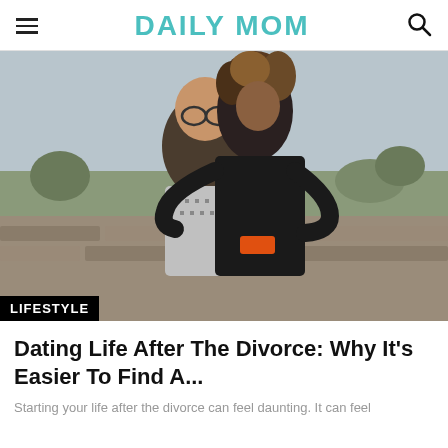DAILY MOM
[Figure (photo): A couple embracing outdoors near a stone wall. A woman with curly hair hugs a man from behind. The man is wearing glasses and a patterned sweater. The woman is wearing a dark jacket with an orange accessory. Background shows a landscape with trees.]
Dating Life After The Divorce: Why It's Easier To Find A...
Starting your life after the divorce can feel daunting. It can feel